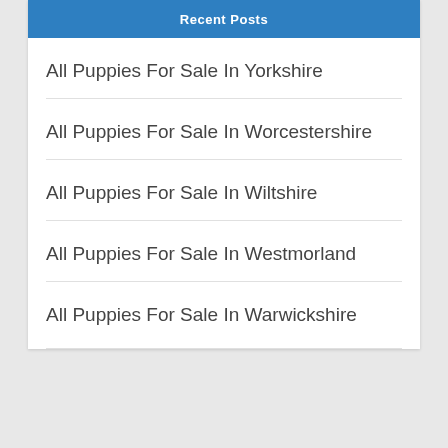Recent Posts
All Puppies For Sale In Yorkshire
All Puppies For Sale In Worcestershire
All Puppies For Sale In Wiltshire
All Puppies For Sale In Westmorland
All Puppies For Sale In Warwickshire